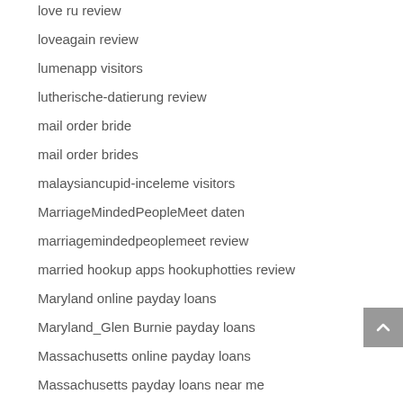love ru review
loveagain review
lumenapp visitors
lutherische-datierung review
mail order bride
mail order brides
malaysiancupid-inceleme visitors
MarriageMindedPeopleMeet daten
marriagemindedpeoplemeet review
married hookup apps hookuphotties review
Maryland online payday loans
Maryland_Glen Burnie payday loans
Massachusetts online payday loans
Massachusetts payday loans near me